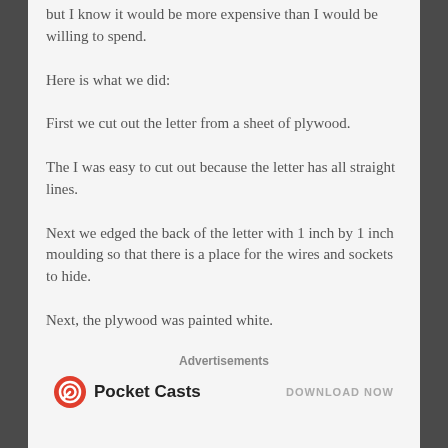but I know it would be more expensive than I would be willing to spend.
Here is what we did:
First we cut out the letter from a sheet of plywood.
The I was easy to cut out because the letter has all straight lines.
Next we edged the back of the letter with 1 inch by 1 inch moulding so that there is a place for the wires and sockets to hide.
Next, the plywood was painted white.
Advertisements
[Figure (logo): Pocket Casts logo with red circular icon and bold text 'Pocket Casts', with 'DOWNLOAD NOW' text to the right]